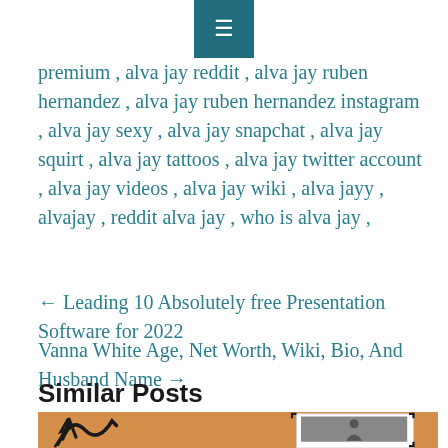[Figure (screenshot): Navigation bar with hamburger menu icon on teal/dark cyan background]
premium , alva jay reddit , alva jay ruben hernandez , alva jay ruben hernandez instagram , alva jay sexy , alva jay snapchat , alva jay squirt , alva jay tattoos , alva jay twitter account , alva jay videos , alva jay wiki , alva jayy , alvajay , reddit alva jay , who is alva jay ,
← Leading 10 Absolutely free Presentation Software for 2022
Vanna White Age, Net Worth, Wiki, Bio, And Husband Name →
Similar Posts
[Figure (photo): Partial image showing an illustrated/collage style graphic with tan/orange background and scribble marks, with a polaroid-style photo of a person partially visible]